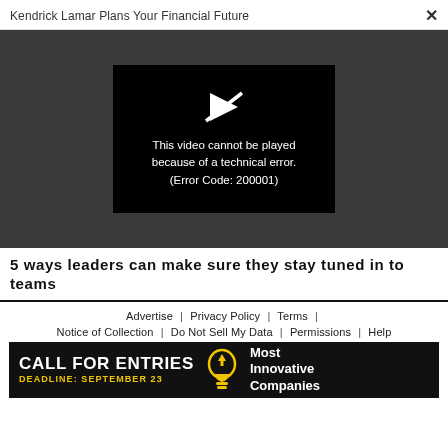Kendrick Lamar Plans Your Financial Future ×
[Figure (screenshot): Video player showing error: play icon with strikethrough, text reading 'This video cannot be played because of a technical error. (Error Code: 200001)' on black background, set within a dark gray video area.]
5 ways leaders can make sure they stay tuned in to teams
Advertise | Privacy Policy | Terms | Notice of Collection | Do Not Sell My Data | Permissions | Help
[Figure (infographic): Black advertisement banner reading 'CALL FOR ENTRIES' in large bold white text, 'DEADLINE: SEPTEMBER 23' in yellow text, a yellow lightbulb icon, and 'Most Innovative Companies' in white text on the right.]